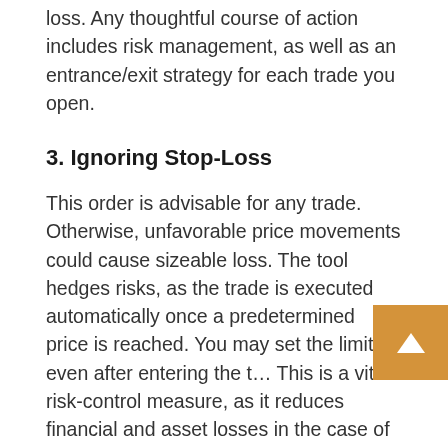loss. Any thoughtful course of action includes risk management, as well as an entrance/exit strategy for each trade you open.
3. Ignoring Stop-Loss
This order is advisable for any trade. Otherwise, unfavorable price movements could cause sizeable loss. The tool hedges risks, as the trade is executed automatically once a predetermined price is reached. You may set the limit even after entering the t… This is a vital risk-control measure, as it reduces financial and asset losses in the case of failed trades.